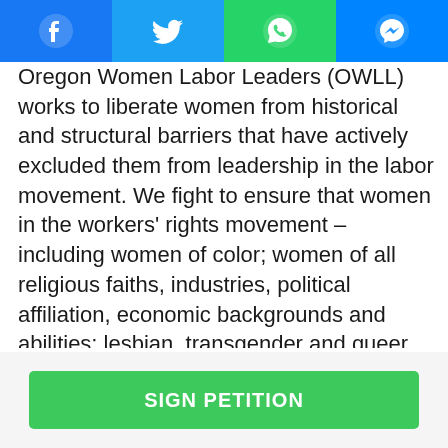[Figure (other): Social media share bar with four buttons: Facebook (blue), Twitter (light blue), WhatsApp (green), Messenger (blue)]
Oregon Women Labor Leaders (OWLL) works to liberate women from historical and structural barriers that have actively excluded them from leadership in the labor movement. We fight to ensure that women in the workers’ rights movement – including women of color; women of all religious faiths, industries, political affiliation, economic backgrounds and abilities; lesbian, transgender and queer women; and women of different immigration status – have the right to self-determination in their workplace and in their communities. OWLL will work to strengthen and transform the labor movement by promoting women’s leadership.
[Figure (other): Green button labeled SIGN PETITION]